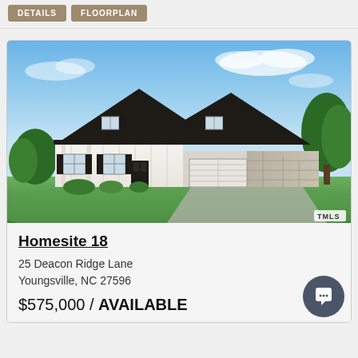DETAILS  FLOORPLAN
[Figure (photo): Exterior rendering of a white craftsman-style two-story home with dark roof, stone accents on garage, two-car garage, front porch, and green landscaping. TMLS watermark in lower right.]
Homesite 18
25 Deacon Ridge Lane
Youngsville, NC 27596
$575,000 / AVAILABLE